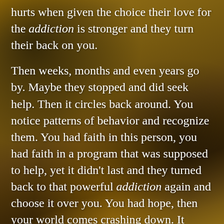hurts when given the choice their love for the addiction is stronger and they turn their back on you.
Then weeks, months and even years go by. Maybe they stopped and did seek help. Then it circles back around. You notice patterns of behavior and recognize them. You had faith in this person, you had faith in a program that was supposed to help, yet it didn't last and they turned back to that powerful addiction again and choose it over you. You had hope, then your world comes crashing down. It triggers anger, rejection, sadness, worthlessness, disgust, disappointment and